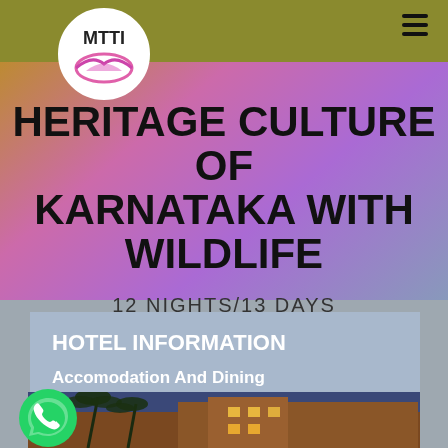MTTI logo and navigation
HERITAGE CULTURE OF KARNATAKA WITH WILDLIFE
12 NIGHTS/13 DAYS
HOTEL INFORMATION
Accomodation And Dining
[Figure (photo): Hotel building at dusk with palm trees, lit up with warm lights against a blue-purple sky]